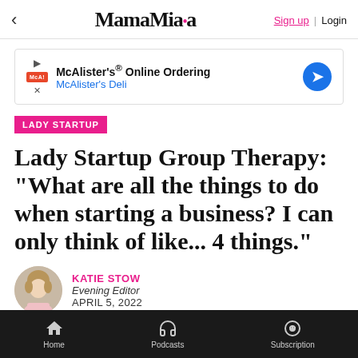MamaMia | Sign up | Login
[Figure (other): McAlister's Online Ordering - McAlister's Deli advertisement banner]
LADY STARTUP
Lady Startup Group Therapy: "What are all the things to do when starting a business? I can only think of like... 4 things."
KATIE STOW
Evening Editor
APRIL 5, 2022
Home | Podcasts | Subscription